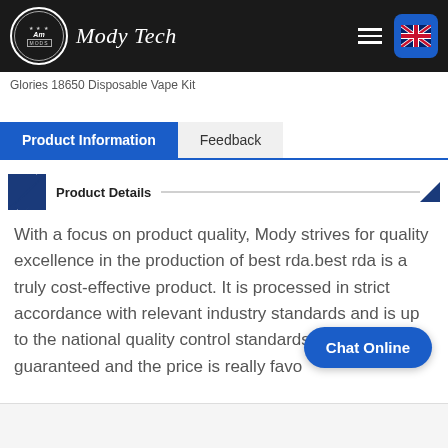Mody Tech
Glories 18650 Disposable Vape Kit
Product Information | Feedback
Product Details
With a focus on product quality, Mody strives for quality excellence in the production of best rda.best rda is a truly cost-effective product. It is processed in strict accordance with relevant industry standards and is up to the national quality control standards. The quality is guaranteed and the price is really favo...
Chat Online